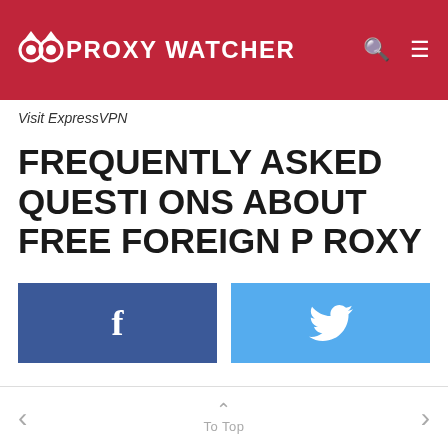PROXYWATCHER
Visit ExpressVPN
FREQUENTLY ASKED QUESTIONS ABOUT FREE FOREIGN PROXY
[Figure (other): Facebook share button with 'f' icon in dark blue]
[Figure (other): Twitter share button with bird icon in light blue]
ABOUT THE AUTHOR
< To Top >